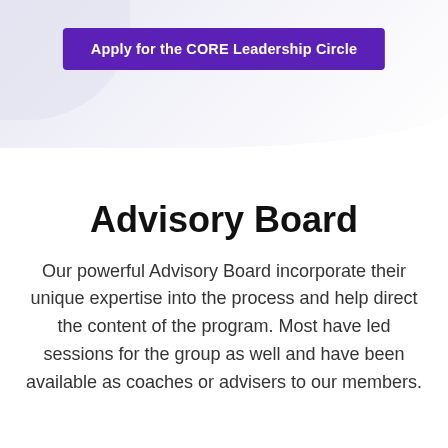[Figure (other): Top banner area with light purple/lavender gradient background and decorative rounded shape in top-left corner]
Apply for the CORE Leadership Circle
Advisory Board
Our powerful Advisory Board incorporate their unique expertise into the process and help direct the content of the program. Most have led sessions for the group as well and have been available as coaches or advisers to our members.